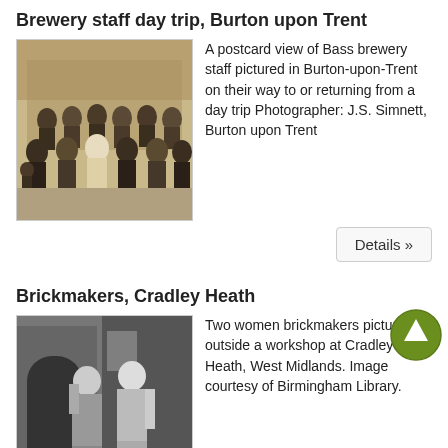Brewery staff day trip, Burton upon Trent
[Figure (photo): A sepia-toned postcard photograph of a large group of Bass brewery staff standing outdoors in Burton-upon-Trent, dressed in early 20th century clothing.]
A postcard view of Bass brewery staff pictured in Burton-upon-Trent on their way to or returning from a day trip Photographer: J.S. Simnett, Burton upon Trent
Details »
Brickmakers, Cradley Heath
[Figure (photo): A black and white photograph of two women brickmakers standing outside a workshop at Cradley Heath, West Midlands.]
Two women brickmakers pictured outside a workshop at Cradley Heath, West Midlands. Image courtesy of Birmingham Library.